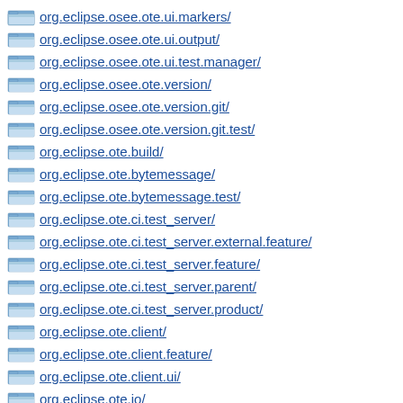org.eclipse.osee.ote.ui.markers/
org.eclipse.osee.ote.ui.output/
org.eclipse.osee.ote.ui.test.manager/
org.eclipse.osee.ote.version/
org.eclipse.osee.ote.version.git/
org.eclipse.osee.ote.version.git.test/
org.eclipse.ote.build/
org.eclipse.ote.bytemessage/
org.eclipse.ote.bytemessage.test/
org.eclipse.ote.ci.test_server/
org.eclipse.ote.ci.test_server.external.feature/
org.eclipse.ote.ci.test_server.feature/
org.eclipse.ote.ci.test_server.parent/
org.eclipse.ote.ci.test_server.product/
org.eclipse.ote.client/
org.eclipse.ote.client.feature/
org.eclipse.ote.client.ui/
org.eclipse.ote.io/
org.eclipse.ote.io.mux/